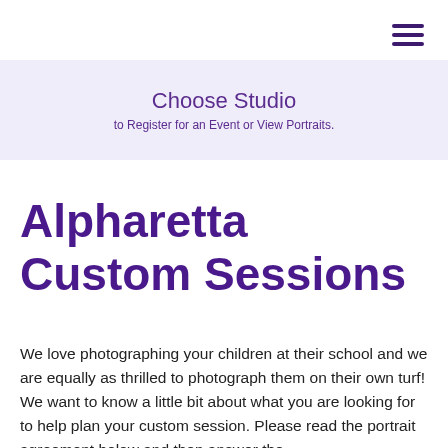≡
Choose Studio
to Register for an Event or View Portraits.
Alpharetta Custom Sessions
We love photographing your children at their school and we are equally as thrilled to photograph them on their own turf! We want to know a little bit about what you are looking for to help plan your custom session. Please read the portrait agreement below and then answer the